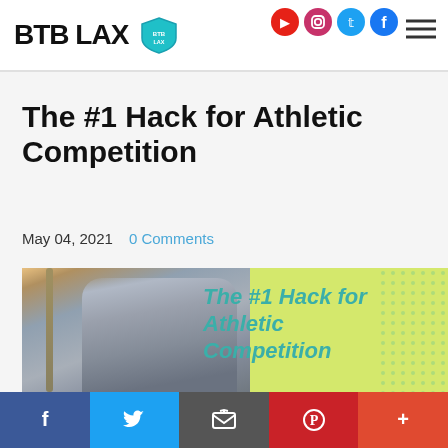BTB LAX
The #1 Hack for Athletic Competition
May 04, 2021    0 Comments
[Figure (photo): Feature image with athlete in grey hoodie on left, yellow-green background with italic teal text 'The #1 Hack for Athletic Competition' on right]
Social share bar: Facebook, Twitter, Email, Pinterest, More